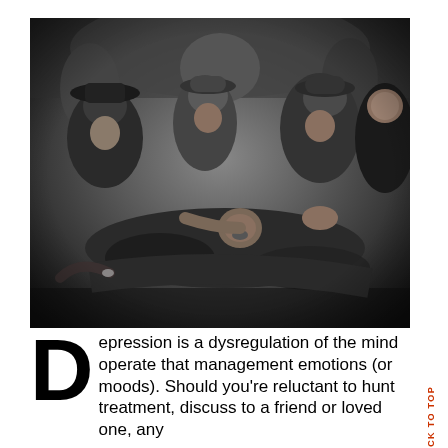[Figure (photo): Black and white photograph of several men in caps and hats attending to an injured or unconscious man lying on the ground. Historical image, appears to be from mid-20th century.]
Depression is a dysregulation of the mind operate that management emotions (or moods). Should you're reluctant to hunt treatment, discuss to a friend or loved one, any